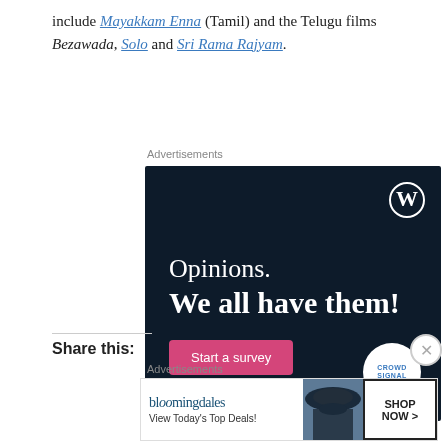include Mayakkam Enna (Tamil) and the Telugu films Bezawada, Solo and Sri Rama Rajyam.
Advertisements
[Figure (screenshot): WordPress/CrowdSignal advertisement with dark navy background. Shows 'Opinions. We all have them!' text with WordPress logo and a pink 'Start a survey' button. CrowdSignal logo in bottom right.]
REPORT THIS AD
Share this:
Advertisements
[Figure (screenshot): Bloomingdales advertisement showing logo, 'View Today's Top Deals!' text, a woman in a hat, and 'SHOP NOW >' button.]